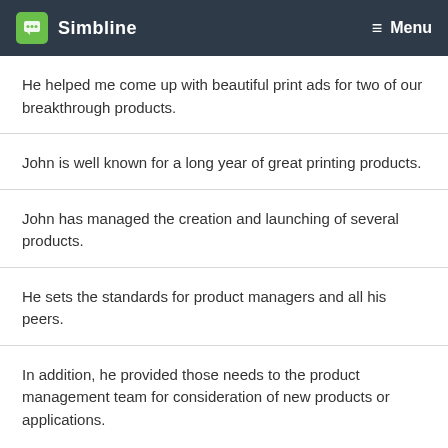Simbline  Menu
He helped me come up with beautiful print ads for two of our breakthrough products.
John is well known for a long year of great printing products.
John has managed the creation and launching of several products.
He sets the standards for product managers and all his peers.
In addition, he provided those needs to the product management team for consideration of new products or applications.